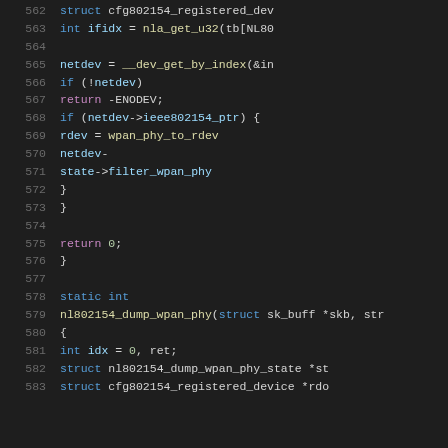Source code listing, lines 562-583, showing C kernel networking code for nl802154 functions including cfg802154_registered_device lookup, netdev operations, and nl802154_dump_wpan_phy function definition.